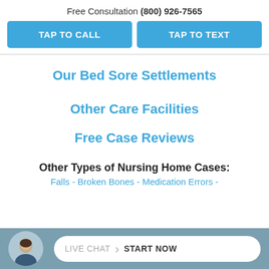Free Consultation (800) 926-7565
TAP TO CALL
TAP TO TEXT
Our Bed Sore Settlements
Other Care Facilities
Free Case Reviews
Other Types of Nursing Home Cases:
Falls - Broken Bones - Medication Errors -
LIVE CHAT › START NOW